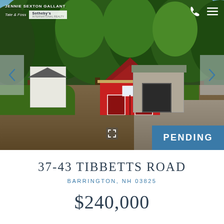[Figure (photo): Exterior photo of a rural property at 37-43 Tibbetts Road, Barrington NH. Shows a red barn-style building with gambrel roof, trees in foreground, gravel driveway, and another outbuilding to the right. Status shown as PENDING. Agent overlay: Jennie Sexton Gallant, Tate & Foss Sotheby's International Realty.]
37-43 TIBBETTS ROAD
BARRINGTON, NH 03825
$240,000